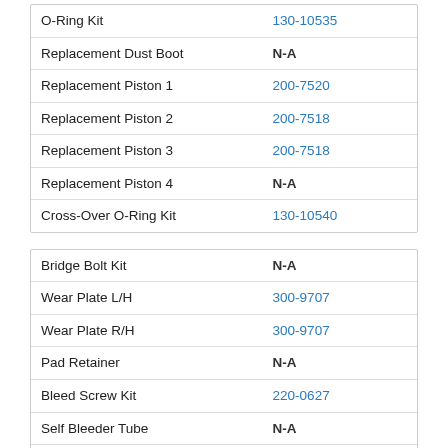| Item | Part Number |
| --- | --- |
| O-Ring Kit | 130-10535 |
| Replacement Dust Boot | N-A |
| Replacement Piston 1 | 200-7520 |
| Replacement Piston 2 | 200-7518 |
| Replacement Piston 3 | 200-7518 |
| Replacement Piston 4 | N-A |
| Cross-Over O-Ring Kit | 130-10540 |
| Item | Part Number |
| --- | --- |
| Bridge Bolt Kit | N-A |
| Wear Plate L/H | 300-9707 |
| Wear Plate R/H | 300-9707 |
| Pad Retainer | N-A |
| Bleed Screw Kit | 220-0627 |
| Self Bleeder Tube | N-A |
| Cross-Over Tube | N-A |
Products commonly used with this item: